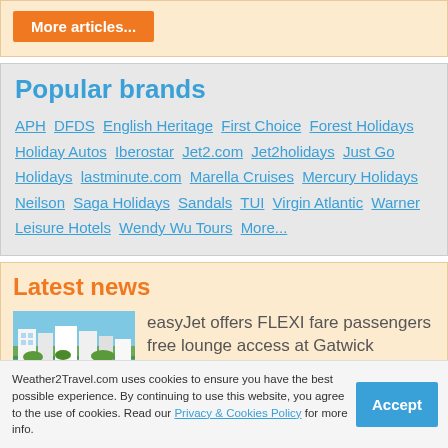More articles...
Popular brands
APH  DFDS  English Heritage  First Choice  Forest Holidays  Holiday Autos  Iberostar  Jet2.com  Jet2holidays  Just Go Holidays  lastminute.com  Marella Cruises  Mercury Holidays  Neilson  Saga Holidays  Sandals  TUI  Virgin Atlantic  Warner Leisure Hotels  Wendy Wu Tours  More...
Latest news
[Figure (photo): Coastal town with buildings near blue sea]
easyJet offers FLEXI fare passengers free lounge access at Gatwick
Weather2Travel.com uses cookies to ensure you have the best possible experience. By continuing to use this website, you agree to the use of cookies. Read our Privacy & Cookies Policy for more info.